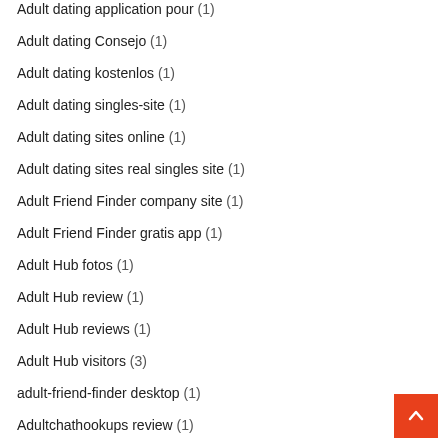Adult dating application pour (1)
Adult dating Consejo (1)
Adult dating kostenlos (1)
Adult dating singles-site (1)
Adult dating sites online (1)
Adult dating sites real singles site (1)
Adult Friend Finder company site (1)
Adult Friend Finder gratis app (1)
Adult Hub fotos (1)
Adult Hub review (1)
Adult Hub reviews (1)
Adult Hub visitors (3)
adult-friend-finder desktop (1)
Adultchathookups review (1)